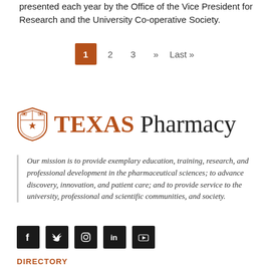presented each year by the Office of the Vice President for Research and the University Co-operative Society.
1  2  3  »  Last »
[Figure (logo): Texas Pharmacy logo with shield icon and text 'TEXAS Pharmacy']
Our mission is to provide exemplary education, training, research, and professional development in the pharmaceutical sciences; to advance discovery, innovation, and patient care; and to provide service to the university, professional and scientific communities, and society.
[Figure (illustration): Social media icons: Facebook, Twitter, Instagram, LinkedIn, YouTube]
DIRECTORY
NEWS